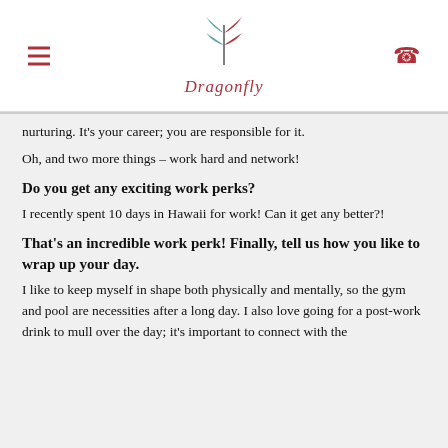Dragonfly
nurturing. It’s your career; you are responsible for it.
Oh, and two more things – work hard and network!
Do you get any exciting work perks?
I recently spent 10 days in Hawaii for work! Can it get any better?!
That’s an incredible work perk! Finally, tell us how you like to wrap up your day.
I like to keep myself in shape both physically and mentally, so the gym and pool are necessities after a long day. I also love going for a post-work drink to mull over the day; it’s important to connect with the